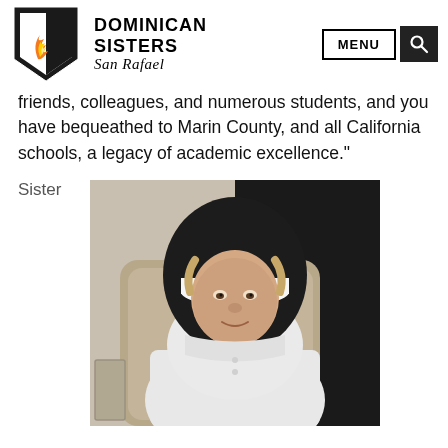Dominican Sisters San Rafael — MENU [search]
friends, colleagues, and numerous students, and you have bequeathed to Marin County, and all California schools, a legacy of academic excellence."
Sister
[Figure (photo): An elderly nun seated in a chair, wearing a white habit and black veil with white headband, smiling gently at the camera.]